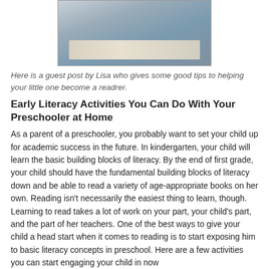[Figure (photo): Two children sitting together and reading an open book]
Here is a guest post by Lisa who gives some good tips to helping your little one become a readrer.
Early Literacy Activities You Can Do With Your Preschooler at Home
As a parent of a preschooler, you probably want to set your child up for academic success in the future. In kindergarten, your child will learn the basic building blocks of literacy. By the end of first grade, your child should have the fundamental building blocks of literacy down and be able to read a variety of age-appropriate books on her own. Reading isn't necessarily the easiest thing to learn, though. Learning to read takes a lot of work on your part, your child's part, and the part of her teachers. One of the best ways to give your child a head start when it comes to reading is to start exposing him to basic literacy concepts in preschool. Here are a few activities you can start engaging your child in now